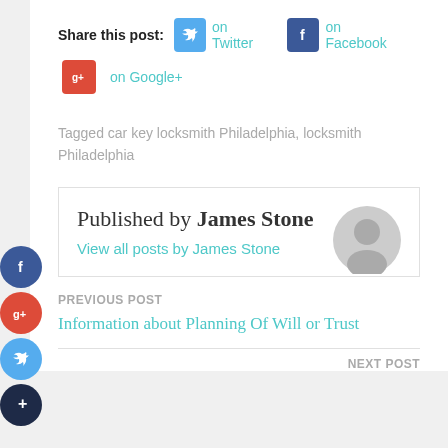Share this post: on Twitter on Facebook on Google+
Tagged car key locksmith Philadelphia, locksmith Philadelphia
Published by James Stone
View all posts by James Stone
PREVIOUS POST
Information about Planning Of Will or Trust
NEXT POST